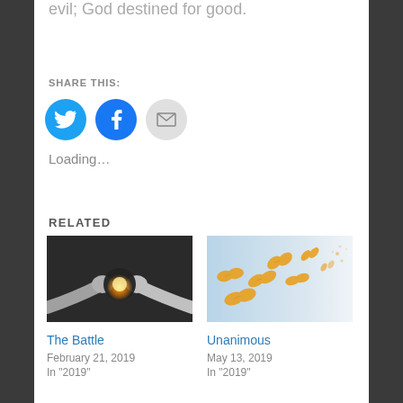evil; God destined for good.
SHARE THIS:
[Figure (infographic): Social share buttons: Twitter (blue bird icon), Facebook (blue f icon), Email (gray envelope icon)]
Loading...
RELATED
[Figure (photo): Two hands fist-bumping with an explosion of light and sparks between them on a dark background]
The Battle
February 21, 2019
In "2019"
[Figure (photo): Orange monarch butterflies flying against a light blue background, some dissolving into particles]
Unanimous
May 13, 2019
In "2019"